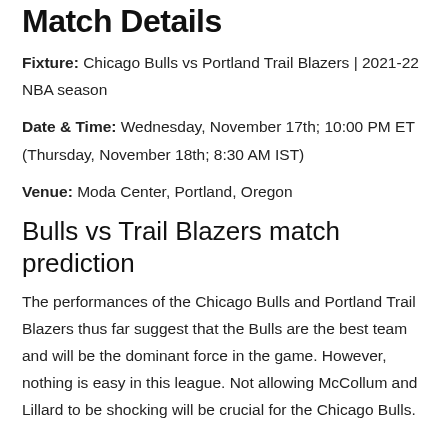Match Details
Fixture: Chicago Bulls vs Portland Trail Blazers | 2021-22 NBA season
Date & Time: Wednesday, November 17th; 10:00 PM ET (Thursday, November 18th; 8:30 AM IST)
Venue: Moda Center, Portland, Oregon
Bulls vs Trail Blazers match prediction
The performances of the Chicago Bulls and Portland Trail Blazers thus far suggest that the Bulls are the best team and will be the dominant force in the game. However, nothing is easy in this league. Not allowing McCollum and Lillard to be shocking will be crucial for the Chicago Bulls.